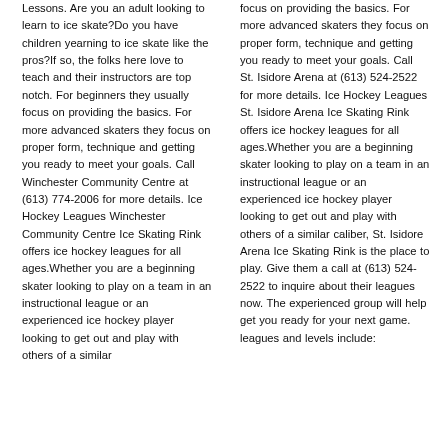Lessons. Are you an adult looking to learn to ice skate?Do you have children yearning to ice skate like the pros?If so, the folks here love to teach and their instructors are top notch. For beginners they usually focus on providing the basics. For more advanced skaters they focus on proper form, technique and getting you ready to meet your goals. Call Winchester Community Centre at (613) 774-2006 for more details. Ice Hockey Leagues Winchester Community Centre Ice Skating Rink offers ice hockey leagues for all ages.Whether you are a beginning skater looking to play on a team in an instructional league or an experienced ice hockey player looking to get out and play with others of a similar
focus on providing the basics. For more advanced skaters they focus on proper form, technique and getting you ready to meet your goals. Call St. Isidore Arena at (613) 524-2522 for more details. Ice Hockey Leagues St. Isidore Arena Ice Skating Rink offers ice hockey leagues for all ages.Whether you are a beginning skater looking to play on a team in an instructional league or an experienced ice hockey player looking to get out and play with others of a similar caliber, St. Isidore Arena Ice Skating Rink is the place to play. Give them a call at (613) 524-2522 to inquire about their leagues now. The experienced group will help get you ready for your next game. leagues and levels include: